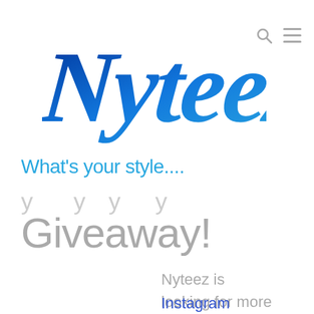[Figure (logo): Nyteez brand logo in blue gradient cursive script]
What's your style....
Giveaway!
Nyteez is looking for more Instagram